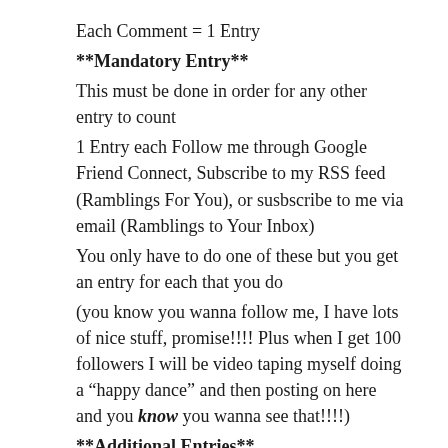Each Comment = 1 Entry
**Mandatory Entry**
This must be done in order for any other entry to count
1 Entry each Follow me through Google Friend Connect, Subscribe to my RSS feed (Ramblings For You), or susbscribe to me via email (Ramblings to Your Inbox)
You only have to do one of these but you get an entry for each that you do
(you know you wanna follow me, I have lots of nice stuff, promise!!!! Plus when I get 100 followers I will be video taping myself doing a “happy dance” and then posting on here and you know you wanna see that!!!!)
**Additional Entries**
1 Entry Tell Me which book you think looks the most interesting and who you’d be giving them to if you win